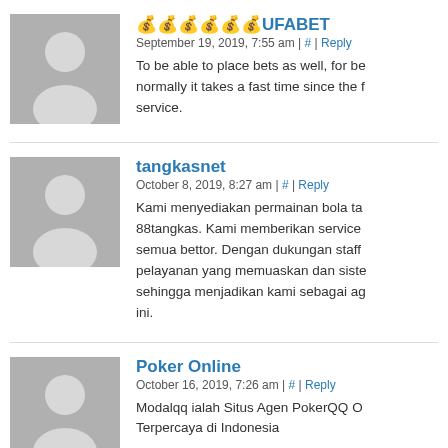ufabetUFABET
September 19, 2019, 7:55 am | # | Reply
To be able to place bets as well, for be... normally it takes a fast time since the f... service.
tangkasnet
October 8, 2019, 8:27 am | # | Reply
Kami menyediakan permainan bola ta... 88tangkas. Kami memberikan service... semua bettor. Dengan dukungan staff... pelayanan yang memuaskan dan siste... sehingga menjadikan kami sebagai ag... ini.
Poker Online
October 16, 2019, 7:26 am | # | Reply
Modalqq ialah Situs Agen PokerQQ O... Terpercaya di Indonesia
tangkasnet
November 2, 2019, 10:56 am | # | Reply
Kami memberikan service yang memu...